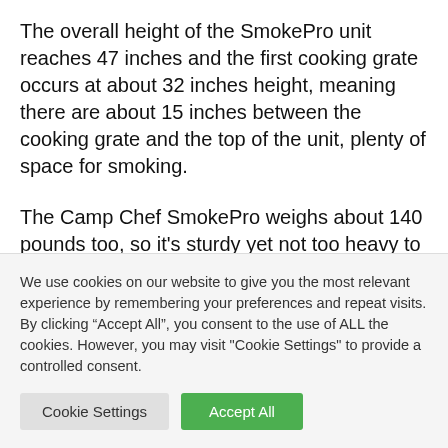The overall height of the SmokePro unit reaches 47 inches and the first cooking grate occurs at about 32 inches height, meaning there are about 15 inches between the cooking grate and the top of the unit, plenty of space for smoking.
The Camp Chef SmokePro weighs about 140 pounds too, so it's sturdy yet not too heavy to maneuver.
We use cookies on our website to give you the most relevant experience by remembering your preferences and repeat visits. By clicking “Accept All”, you consent to the use of ALL the cookies. However, you may visit "Cookie Settings" to provide a controlled consent.